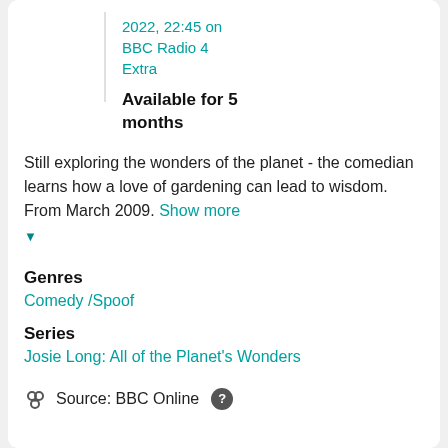2022, 22:45 on BBC Radio 4 Extra
Available for 5 months
Still exploring the wonders of the planet - the comedian learns how a love of gardening can lead to wisdom. From March 2009. Show more
Genres
Comedy / Spoof
Series
Josie Long: All of the Planet's Wonders
Source: BBC Online